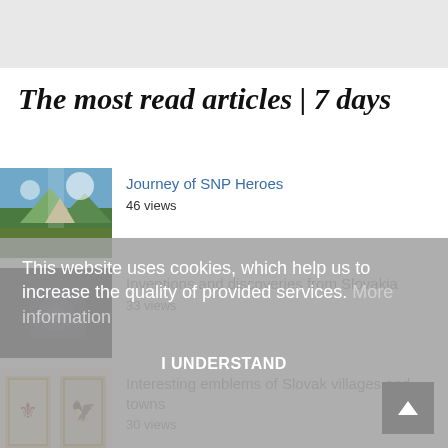The most read articles | 7 days
Journey of SNP Heroes
46 views
Inventions and discoveries from Slovakia
33 views
Interesting emblems of Slovak villages and towns
30 views
This website uses cookies, which help us to increase the quality of provided services. More information
I UNDERSTAND